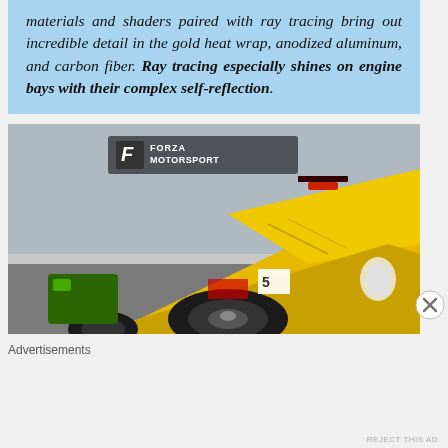materials and shaders paired with ray tracing bring out incredible detail in the gold heat wrap, anodized aluminum, and carbon fiber. Ray tracing especially shines on engine bays with their complex self-reflection.
[Figure (screenshot): Forza Motorsport game screenshot showing a yellow racing car with Michelin branding in wet conditions, with the Forza Motorsport logo in the top left.]
Advertisements
REJECT THIS AD